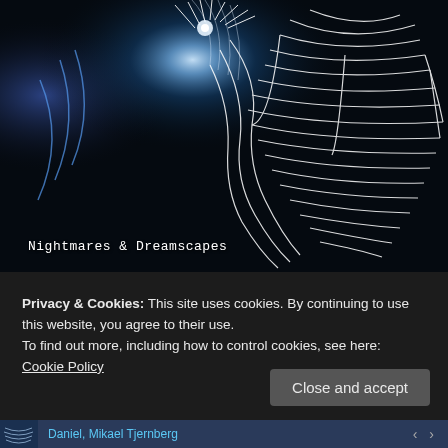[Figure (photo): Dark artistic photo with bright white light streaks forming swirling patterns against a black background, with blue light glow at top center. Text overlay reads 'Nightmares & Dreamscapes'.]
Nightmares & Dreamscapes
Privacy & Cookies: This site uses cookies. By continuing to use this website, you agree to their use.
To find out more, including how to control cookies, see here: Cookie Policy
Close and accept
Daniel, Mikael Tjernberg